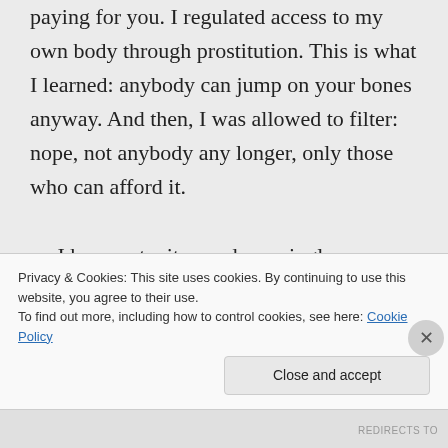paying for you. I regulated access to my own body through prostitution. This is what I learned: anybody can jump on your bones anyway. And then, I was allowed to filter: nope, not anybody any longer, only those who can afford it.

… I have not witnessed one single prostitute who hasn't been sexually abused/raped or experienced some other form of medium trivial...
Privacy & Cookies: This site uses cookies. By continuing to use this website, you agree to their use.
To find out more, including how to control cookies, see here: Cookie Policy